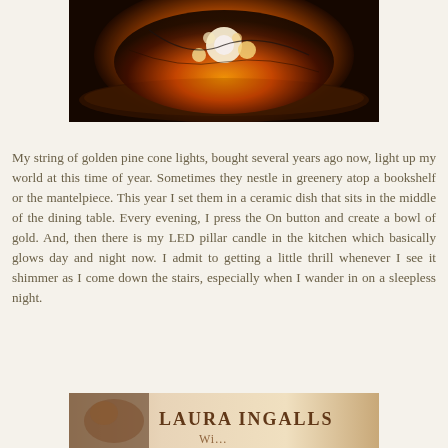[Figure (photo): Close-up photo of golden pine cone string lights glowing warmly in a dark ceramic dish, with orange and amber light radiating from the centre.]
My string of golden pine cone lights, bought several years ago now, light up my world at this time of year. Sometimes they nestle in greenery atop a bookshelf or the mantelpiece. This year I set them in a ceramic dish that sits in the middle of the dining table. Every evening, I press the On button and create a bowl of gold. And, then there is my LED pillar candle in the kitchen which basically glows day and night now. I admit to getting a little thrill whenever I see it shimmer as I come down the stairs, especially when I wander in on a sleepless night.
[Figure (photo): Partial view of a book cover showing 'LAURA INGALLS' text with warm beige tones and an illustrated image.]